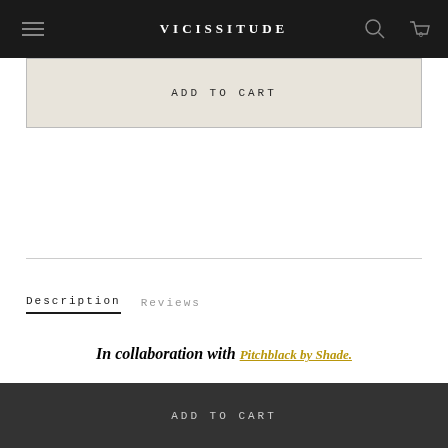VICISSITUDE
ADD TO CART
Description   Reviews
In collaboration with Pitchblack by Shade.
ADD TO CART